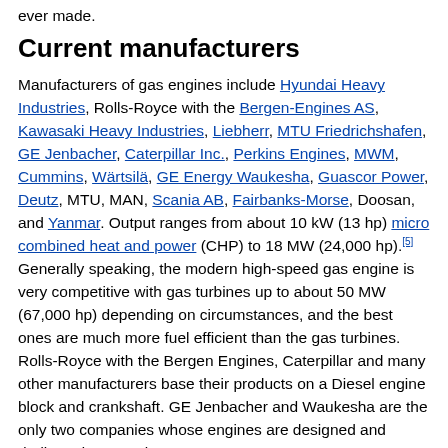ever made.
Current manufacturers
Manufacturers of gas engines include Hyundai Heavy Industries, Rolls-Royce with the Bergen-Engines AS, Kawasaki Heavy Industries, Liebherr, MTU Friedrichshafen, GE Jenbacher, Caterpillar Inc., Perkins Engines, MWM, Cummins, Wärtsilä, GE Energy Waukesha, Guascor Power, Deutz, MTU, MAN, Scania AB, Fairbanks-Morse, Doosan, and Yanmar. Output ranges from about 10 kW (13 hp) micro combined heat and power (CHP) to 18 MW (24,000 hp).[5] Generally speaking, the modern high-speed gas engine is very competitive with gas turbines up to about 50 MW (67,000 hp) depending on circumstances, and the best ones are much more fuel efficient than the gas turbines. Rolls-Royce with the Bergen Engines, Caterpillar and many other manufacturers base their products on a Diesel engine block and crankshaft. GE Jenbacher and Waukesha are the only two companies whose engines are designed and dedicated to gas alone.
Typical applications
Stationary